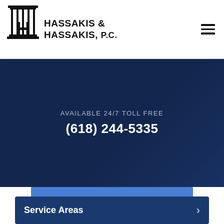[Figure (logo): Hassakis & Hassakis P.C. law firm logo with column/H icon and firm name]
AVAILABLE 24/7 TOLL FREE
(618) 244-5335
Review Us On Google
Service Areas